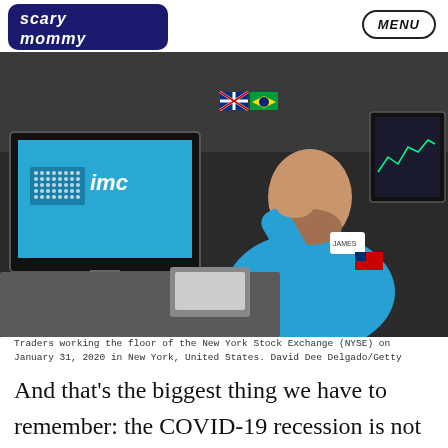Scary Mommy
MENU
[Figure (photo): A trader in a blue jacket with IMC logo on screen behind him, head in hand, sitting at a trading desk on the floor of the New York Stock Exchange.]
Traders working the floor of the New York Stock Exchange (NYSE) on January 31, 2020 in New York, United States. David Dee Delgado/Getty
And that’s the biggest thing we have to remember: the COVID-19 recession is not a typical recession. In a traditional recession, the